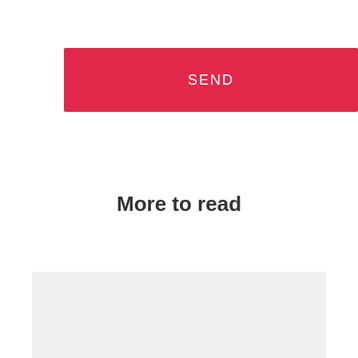[Figure (screenshot): A red button labeled SEND in white capital letters with letter-spacing]
More to read
[Figure (other): A light gray rectangular block area]